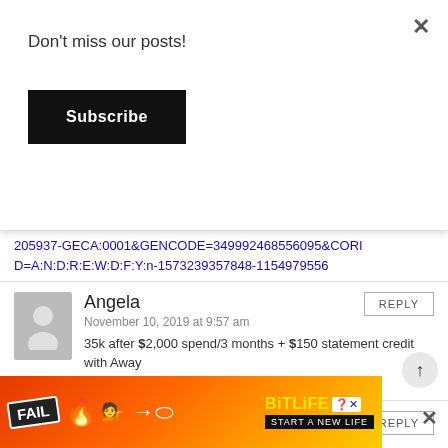Don't miss our posts!
Subscribe
205937-GECA:0001&GENCODE=349992468556095&CORID=A:N:D:R:E:W:D:F:Y:n-1573239357848-1154979556
Angela
November 10, 2019 at 9:57 am
35k after $2,000 spend/3 months + $150 statement credit with Away
http://refer.amex.us/KAkIAL4ksF?XLINK=MYCP
Susan
[Figure (infographic): BitLife advertisement banner with FAIL text, cartoon character, flames, and 'START A NEW LIFE' tagline]